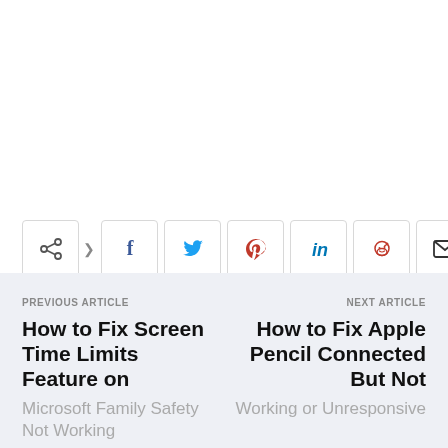[Figure (infographic): Social share bar with icons: share/forward, Facebook, Twitter, Pinterest, LinkedIn, Reddit, Email, Print]
PREVIOUS ARTICLE
How to Fix Screen Time Limits Feature on
Microsoft Family Safety Not Working
NEXT ARTICLE
How to Fix Apple Pencil Connected But Not Working or Unresponsive